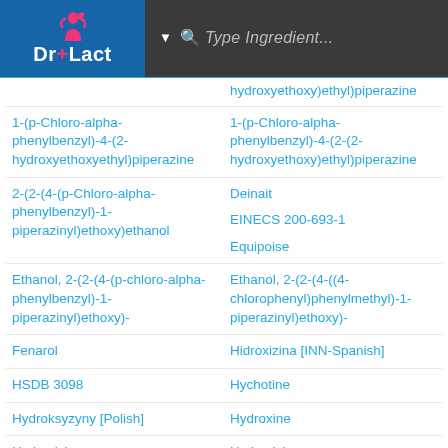Dr+Lact | Type Ingredient...
hydroxyethoxy)ethyl)piperazine
1-(p-Chloro-alpha-phenylbenzyl)-4-(2-hydroxyethoxyethyl)piperazine
1-(p-Chloro-alpha-phenylbenzyl)-4-(2-(2-hydroxyethoxy)ethyl)piperazine
2-(2-(4-(p-Chloro-alpha-phenylbenzyl)-1-piperazinyl)ethoxy)ethanol
Deinait
EINECS 200-693-1
Equipoise
Ethanol, 2-(2-(4-(p-chloro-alpha-phenylbenzyl)-1-piperazinyl)ethoxy)-
Ethanol, 2-(2-(4-((4-chlorophenyl)phenylmethyl)-1-piperazinyl)ethoxy)-
Fenarol
Hidroxizina [INN-Spanish]
HSDB 3098
Hychotine
Hydroksyzyny [Polish]
Hydroxine
Hydroxizine
Hydroxizinum
Hydroxycine
Hydroxyzin